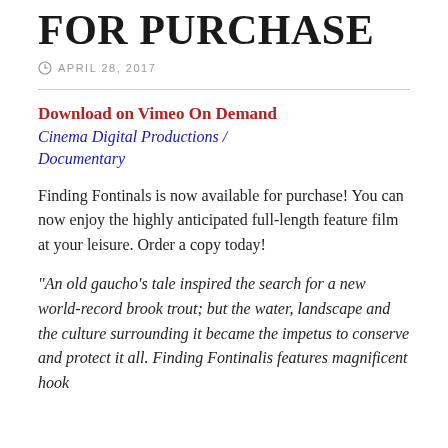FOR PURCHASE
APRIL 28, 2017
Download on Vimeo On Demand
Cinema Digital Productions / Documentary
Finding Fontinals is now available for purchase! You can now enjoy the highly anticipated full-length feature film at your leisure. Order a copy today!
“An old gaucho’s tale inspired the search for a new world-record brook trout; but the water, landscape and the culture surrounding it became the impetus to conserve and protect it all. Finding Fontinalis features magnificent hook